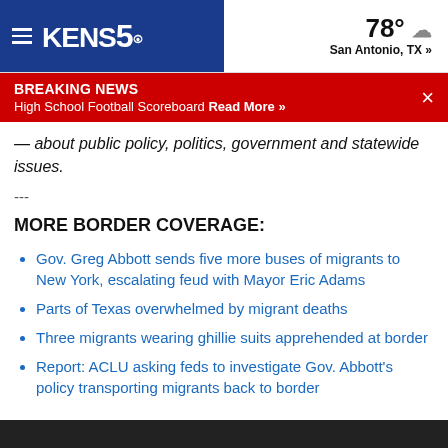KENS5 | 78° San Antonio, TX »
BREAKING NEWS – High School Football Scoreboard Read More »
— about public policy, politics, government and statewide issues.
---
MORE BORDER COVERAGE:
Gov. Greg Abbott sends five more buses of migrants to New York, escalating feud with Mayor Eric Adams
Parts of Texas overwhelmed by migrant deaths
Three migrants wearing ghillie suits apprehended at border
Report: ACLU asking feds to investigate Gov. Abbott's policy transporting migrants back to border